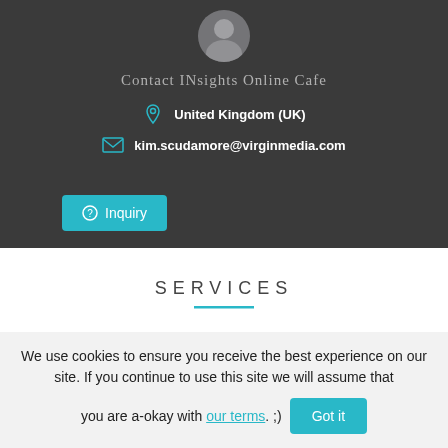[Figure (photo): Circular profile photo of a person, partially visible at top of dark section]
Contact INsights Online Cafe
United Kingdom (UK)
kim.scudamore@virginmedia.com
Inquiry
SERVICES
"Choose an initiative you want to support:" is a required field.
We use cookies to ensure you receive the best experience on our site. If you continue to use this site we will assume that you are a-okay with our terms. ;)